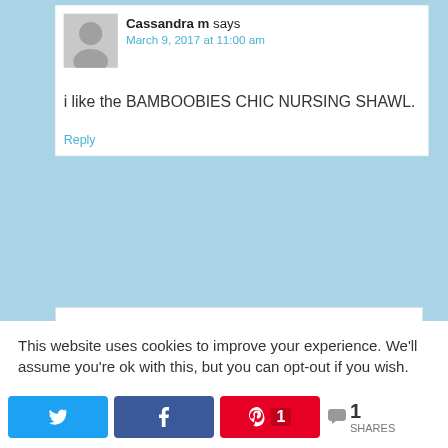[Figure (illustration): User avatar placeholder - grey silhouette of a person on grey background]
Cassandra m says
March 9, 2017 at 11:00 am
i like the BAMBOOBIES CHIC NURSING SHAWL.
Reply
This website uses cookies to improve your experience. We'll assume you're ok with this, but you can opt-out if you wish.
[Figure (screenshot): Social share bar with Twitter, Facebook, Pinterest buttons and share count of 1]